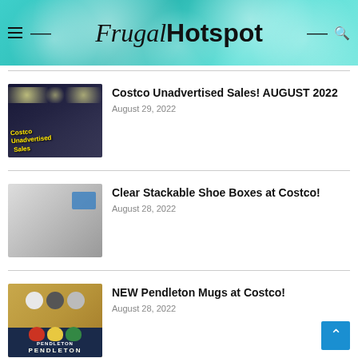Frugal Hotspot
[Figure (photo): Costco store exterior at night with decorative lights and yellow text overlay reading 'Costco Unadvertised Sales']
Costco Unadvertised Sales! AUGUST 2022
August 29, 2022
[Figure (photo): Clear stackable shoe boxes displayed on a shelf at Costco with a blue brand label visible]
Clear Stackable Shoe Boxes at Costco!
August 28, 2022
[Figure (photo): Pendleton mug gift set in a gold/tan box with dark blue bottom, showing colorful ceramic mugs]
NEW Pendleton Mugs at Costco!
August 28, 2022